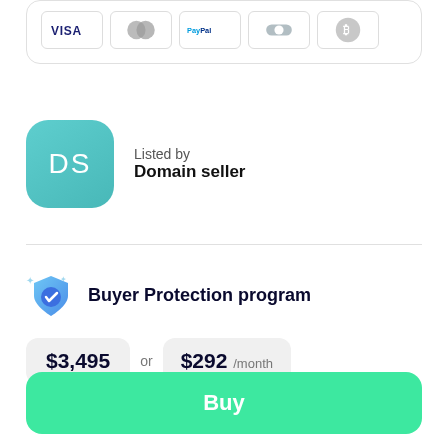[Figure (other): Payment method icons: Visa, Mastercard, PayPal, Afterpay/Klarna, Bitcoin]
Listed by
Domain seller
Buyer Protection program
$3,495 or $292 /month
Buy